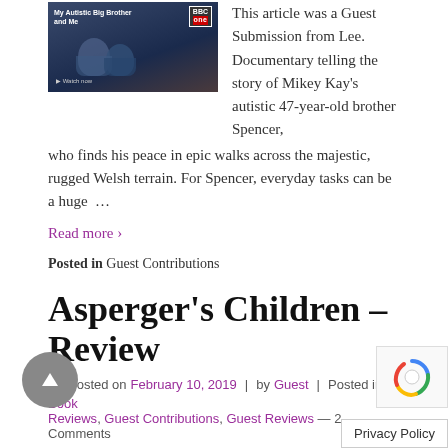[Figure (screenshot): BBC One documentary thumbnail showing two men in outdoor/hiking gear with text 'My Autistic Big Brother and Me' and BBC One logo]
This article was a Guest Submission from Lee. Documentary telling the story of Mikey Kay's autistic 47-year-old brother Spencer, who finds his peace in epic walks across the majestic, rugged Welsh terrain. For Spencer, everyday tasks can be a huge …
Read more ›
Posted in Guest Contributions
Asperger's Children – Review
Posted on February 10, 2019 | by Guest | Posted in Book Reviews, Guest Contributions, Guest Reviews — 2 Comments